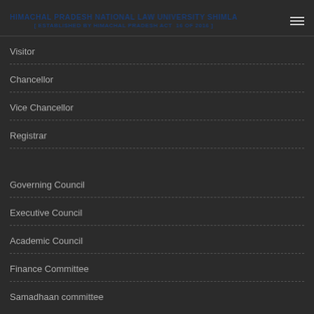HIMACHAL PRADESH NATIONAL LAW UNIVERSITY SHIMLA [ ESTABLISHED BY HIMACHAL PRADESH ACT 16 OF 2016 ]
Visitor
Chancellor
Vice Chancellor
Registrar
Governing Council
Executive Council
Academic Council
Finance Committee
Samadhaan committee